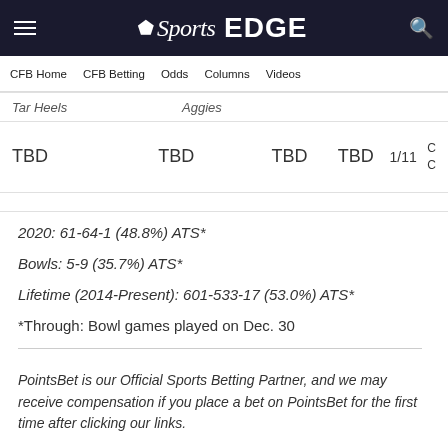NBC Sports EDGE
CFB Home   CFB Betting   Odds   Columns   Videos
| Tar Heels | Aggies |  |  |  |  |
| TBD | TBD | TBD | TBD | 1/11 | C
C |
2020: 61-64-1 (48.8%) ATS*
Bowls: 5-9 (35.7%) ATS*
Lifetime (2014-Present): 601-533-17 (53.0%) ATS*
*Through: Bowl games played on Dec. 30
PointsBet is our Official Sports Betting Partner, and we may receive compensation if you place a bet on PointsBet for the first time after clicking our links.